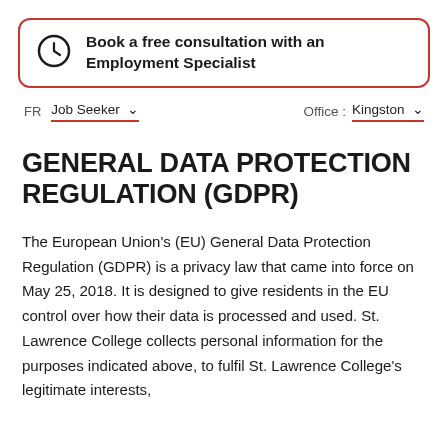Book a free consultation with an Employment Specialist
FR   Job Seeker ∨   Office : Kingston ∨
GENERAL DATA PROTECTION REGULATION (GDPR)
The European Union's (EU) General Data Protection Regulation (GDPR) is a privacy law that came into force on May 25, 2018. It is designed to give residents in the EU control over how their data is processed and used. St. Lawrence College collects personal information for the purposes indicated above, to fulfil St. Lawrence College's legitimate interests,